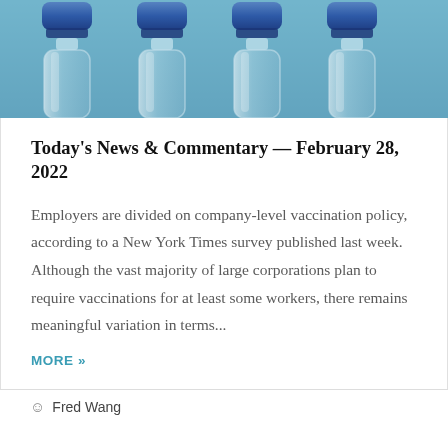[Figure (photo): Close-up photo of vaccine vials with blue caps arranged in a row]
Today's News & Commentary — February 28, 2022
Employers are divided on company-level vaccination policy, according to a New York Times survey published last week. Although the vast majority of large corporations plan to require vaccinations for at least some workers, there remains meaningful variation in terms...
MORE »
Fred Wang